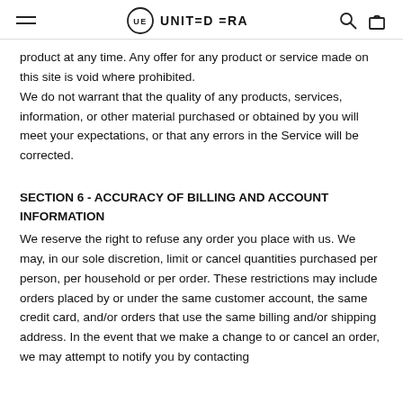UNITED ERA
product at any time. Any offer for any product or service made on this site is void where prohibited.
We do not warrant that the quality of any products, services, information, or other material purchased or obtained by you will meet your expectations, or that any errors in the Service will be corrected.
SECTION 6 - ACCURACY OF BILLING AND ACCOUNT INFORMATION
We reserve the right to refuse any order you place with us. We may, in our sole discretion, limit or cancel quantities purchased per person, per household or per order. These restrictions may include orders placed by or under the same customer account, the same credit card, and/or orders that use the same billing and/or shipping address. In the event that we make a change to or cancel an order, we may attempt to notify you by contacting